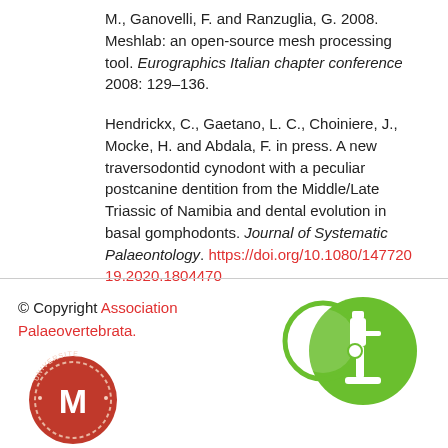M., Ganovelli, F. and Ranzuglia, G. 2008. Meshlab: an open-source mesh processing tool. Eurographics Italian chapter conference 2008: 129–136.
Hendrickx, C., Gaetano, L. C., Choiniere, J., Mocke, H. and Abdala, F. in press. A new traversodontid cynodont with a peculiar postcanine dentition from the Middle/Late Triassic of Namibia and dental evolution in basal gomphodonts. Journal of Systematic Palaeontology. https://doi.org/10.1080/14772019.2020.1804470
© Copyright Association Palaeovertebrata.
[Figure (logo): Open access / microscope icon logo — green circle with microscope symbol]
[Figure (logo): University seal logo — red circular badge with letter M]